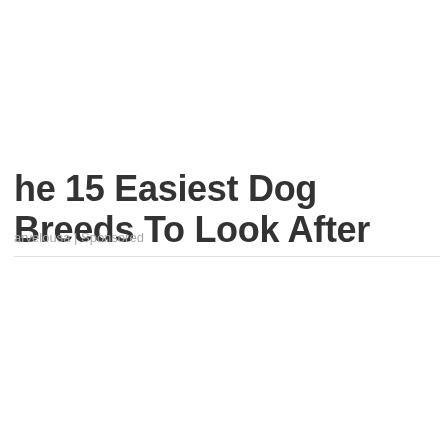The 15 Easiest Dog Breeds To Look After
arvelousa | Sponsored